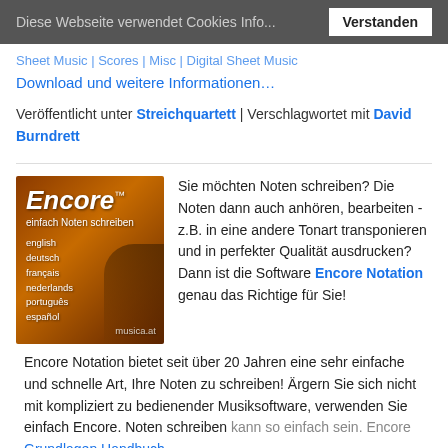Diese Webseite verwendet Cookies Info...    Verstanden
Sheet Music | Scores | Misc | Digital Sheet Music
Download und weitere Informationen…
Veröffentlicht unter Streichquartett | Verschlagwortet mit David Burndrett
[Figure (illustration): Advertisement image for Encore Notation software showing a violin/guitar with bold italic 'Encore TM' text, subtitle 'einfach Noten schreiben', list of languages (english, deutsch, français, nederlands, português, español), and musica.at domain]
Sie möchten Noten schreiben? Die Noten dann auch anhören, bearbeiten - z.B. in eine andere Tonart transponieren und in perfekter Qualität ausdrucken? Dann ist die Software Encore Notation genau das Richtige für Sie!
Encore Notation bietet seit über 20 Jahren eine sehr einfache und schnelle Art, Ihre Noten zu schreiben! Ärgern Sie sich nicht mit kompliziert zu bedienender Musiksoftware, verwenden Sie einfach Encore. Noten schreiben kann so einfach sein. Encore Grundlagen Handbuch...